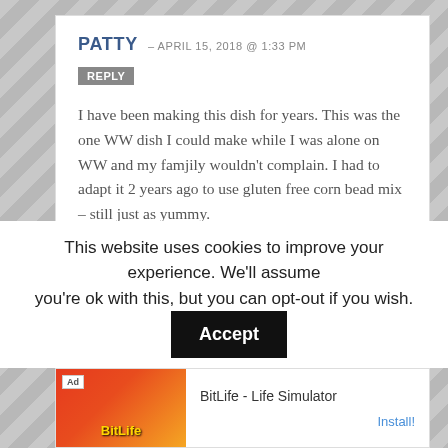PATTY – APRIL 15, 2018 @ 1:33 PM
REPLY
I have been making this dish for years. This was the one WW dish I could make while I was alone on WW and my famjily wouldn't complain. I had to adapt it 2 years ago to use gluten free corn bead mix – still just as yummy.

Now my whole family has just joined WW and guess what is for dinner tomorrow night??? Can't wait to have it!
This website uses cookies to improve your experience. We'll assume you're ok with this, but you can opt-out if you wish. Accept
[Figure (other): Advertisement banner for BitLife - Life Simulator app with red/orange background and app logo]